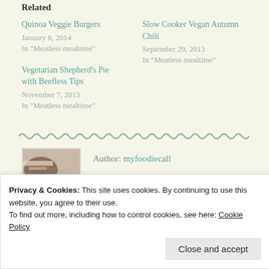Related
Quinoa Veggie Burgers
January 8, 2014
In "Meatless mealtime"
Slow Cooker Vegan Autumn Chili
September 29, 2013
In "Meatless mealtime"
Vegetarian Shepherd's Pie with Beefless Tips
November 7, 2013
In "Meatless mealtime"
[Figure (illustration): Decorative wavy divider line]
Author: myfoodiecall
[Figure (photo): Small thumbnail photo of food]
Privacy & Cookies: This site uses cookies. By continuing to use this website, you agree to their use.
To find out more, including how to control cookies, see here: Cookie Policy
Close and accept